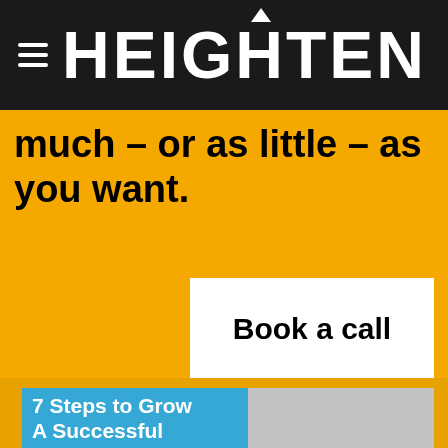HEIGHTEN
much – or as little – as you want.
Book a call
[Figure (other): Card with blue left panel showing '7 Steps to Grow A Successful' text and gray right panel, on a yellow/amber background]
7 Steps to Grow A Successful